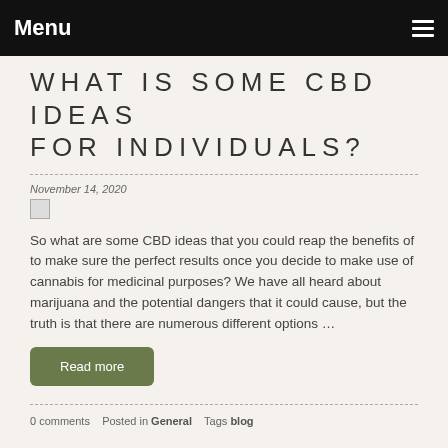Menu
WHAT IS SOME CBD IDEAS FOR INDIVIDUALS?
November 14, 2020
So what are some CBD ideas that you could reap the benefits of to make sure the perfect results once you decide to make use of cannabis for medicinal purposes? We have all heard about marijuana and the potential dangers that it could cause, but the truth is that there are numerous different options …
Read more
0 comments   Posted in General   Tags blog